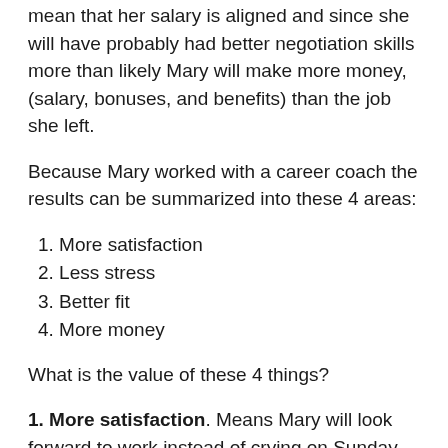mean that her salary is aligned and since she will have probably had better negotiation skills more than likely Mary will make more money, (salary, bonuses, and benefits) than the job she left.
Because Mary worked with a career coach the results can be summarized into these 4 areas:
1. More satisfaction
2. Less stress
3. Better fit
4. More money
What is the value of these 4 things?
1. More satisfaction. Means Mary will look forward to work instead of crying on Sunday night and